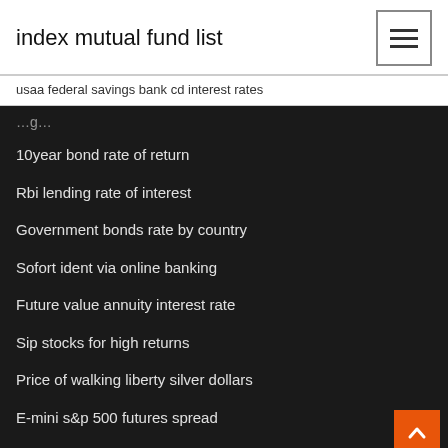index mutual fund list
usaa federal savings bank cd interest rates
10year bond rate of return
Rbi lending rate of interest
Government bonds rate by country
Sofort ident via online banking
Future value annuity interest rate
Sip stocks for high returns
Price of walking liberty silver dollars
E-mini s&p 500 futures spread
Federal reserve bank of new york organizational chart
Alta mesa oil and gas idaho